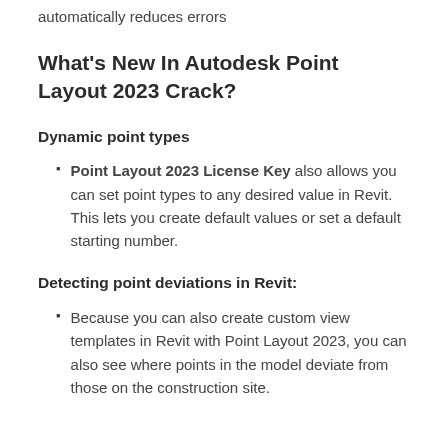automatically reduces errors
What's New In Autodesk Point Layout 2023 Crack?
Dynamic point types
Point Layout 2023 License Key also allows you can set point types to any desired value in Revit. This lets you create default values or set a default starting number.
Detecting point deviations in Revit:
Because you can also create custom view templates in Revit with Point Layout 2023, you can also see where points in the model deviate from those on the construction site.